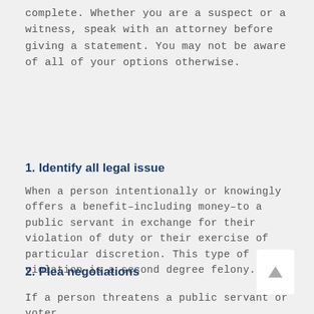complete. Whether you are a suspect or a witness, speak with an attorney before giving a statement. You may not be aware of all of your options otherwise.
1. Identify all legal issue
When a person intentionally or knowingly offers a benefit–including money–to a public servant in exchange for their violation of duty or their exercise of particular discretion. This type of violation is a second degree felony.
2. Plea negotiations
If a person threatens a public servant or voter